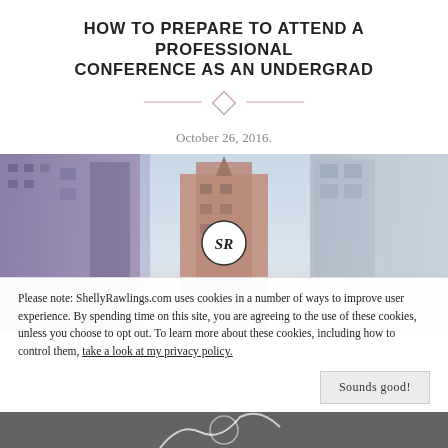HOW TO PREPARE TO ATTEND A PROFESSIONAL CONFERENCE AS AN UNDERGRAD
October 26, 2016.
[Figure (photo): City skyline photo with tall buildings and a sky background, with a circular SR logo overlay in the center]
Please note: ShellyRawlings.com uses cookies in a number of ways to improve user experience. By spending time on this site, you are agreeing to the use of these cookies, unless you choose to opt out. To learn more about these cookies, including how to control them, take a look at my privacy policy.
Sounds good!